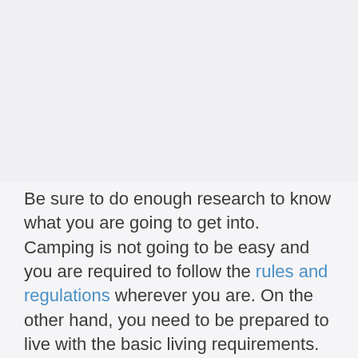[Figure (photo): Blank/placeholder image area at the top of the page]
Be sure to do enough research to know what you are going to get into. Camping is not going to be easy and you are required to follow the rules and regulations wherever you are. On the other hand, you need to be prepared to live with the basic living requirements. Living in a camper might not be as luxurious as living in a home for some